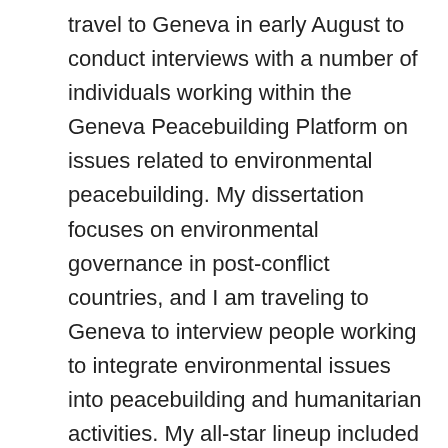travel to Geneva in early August to conduct interviews with a number of individuals working within the Geneva Peacebuilding Platform on issues related to environmental peacebuilding. My dissertation focuses on environmental governance in post-conflict countries, and I am traveling to Geneva to interview people working to integrate environmental issues into peacebuilding and humanitarian activities. My all-star lineup included individuals from the United Nations Environment Programme, the Red Cross, Zoï Environment Network, and Interpeace. After completing my interviews in Geneva, I was to begin work on my Fulbright-Hays Doctoral Dissertation Research Abroad project in Sierra Leone.
About the time I was preparing to go to Geneva and Sierra Leone, the Ebola epidemic in West Africa started making